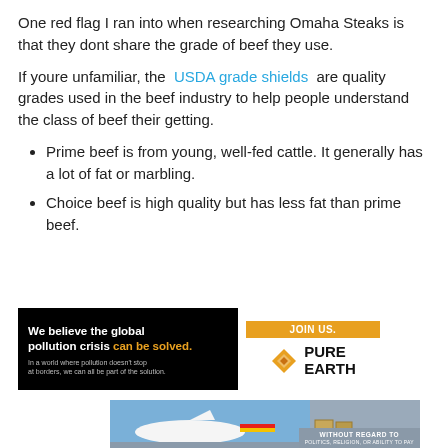One red flag I ran into when researching Omaha Steaks is that they dont share the grade of beef they use.
If youre unfamiliar, the USDA grade shields are quality grades used in the beef industry to help people understand the class of beef their getting.
Prime beef is from young, well-fed cattle. It generally has a lot of fat or marbling.
Choice beef is high quality but has less fat than prime beef.
[Figure (infographic): Advertisement banner for Pure Earth: black background on left with text 'We believe the global pollution crisis can be solved.' and small subtext. Right side white with orange 'JOIN US.' button and Pure Earth diamond logo with brand name.]
[Figure (photo): Partial photo of cargo being loaded onto a Southwest Airlines aircraft. Overlay text reads 'WITHOUT REGARD TO' in white on gray background.]